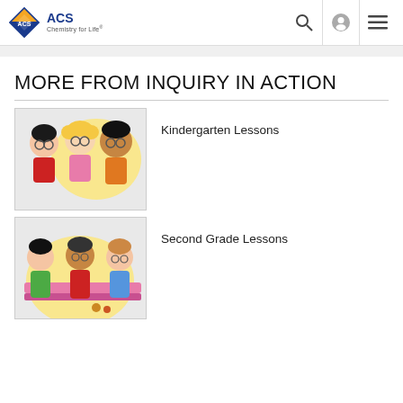ACS Chemistry for Life
MORE FROM INQUIRY IN ACTION
Kindergarten Lessons
Second Grade Lessons